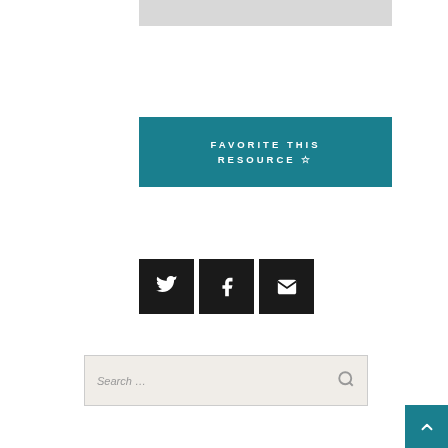[Figure (other): Gray banner/placeholder image at top]
[Figure (other): Teal button with text FAVORITE THIS RESOURCE and star icon]
[Figure (other): Three social media icon buttons: Twitter, Facebook, Email]
[Figure (other): Search bar with placeholder text 'Search ...' and magnifying glass icon]
[Figure (other): Teal back-to-top button with upward chevron arrow in bottom right corner]